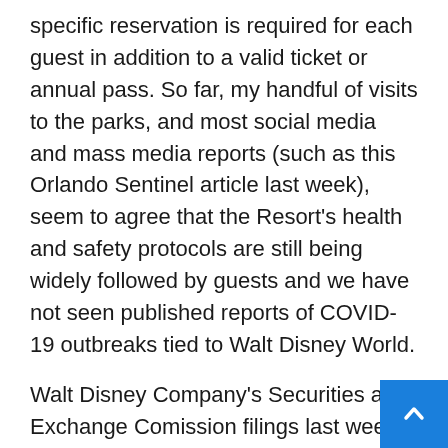specific reservation is required for each guest in addition to a valid ticket or annual pass. So far, my handful of visits to the parks, and most social media and mass media reports (such as this Orlando Sentinel article last week), seem to agree that the Resort's health and safety protocols are still being widely followed by guests and we have not seen published reports of COVID-19 outbreaks tied to Walt Disney World.
Walt Disney Company's Securities and Exchange Comission filings last week included notice that the company increased the reduction-in-force to the division that includes the Parks and Resorts from the previously announced 28,000 to 32,000. It is not clear which positions at Walt Disney World Resort have been eliminated. Disneyland Resort in